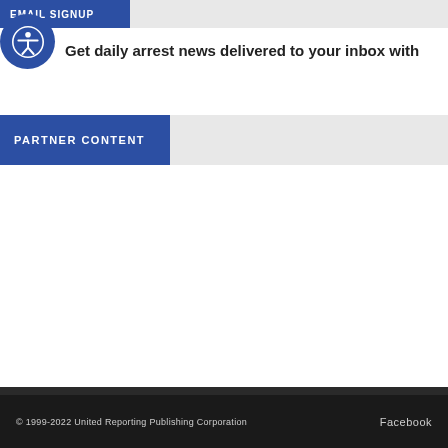EMAIL SIGNUP
Get daily arrest news delivered to your inbox with
PARTNER CONTENT
© 1999-2022 United Reporting Publishing Corporation    Facebook